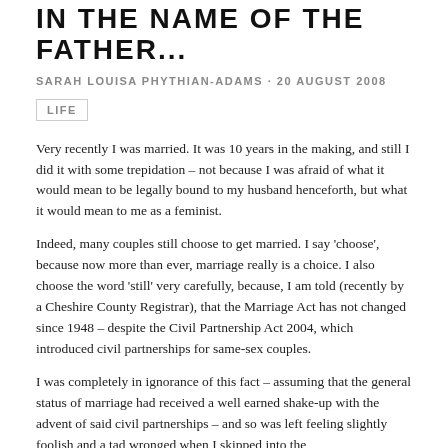IN THE NAME OF THE FATHER...
SARAH LOUISA PHYTHIAN-ADAMS · 20 AUGUST 2008
LIFE
Very recently I was married. It was 10 years in the making, and still I did it with some trepidation – not because I was afraid of what it would mean to be legally bound to my husband henceforth, but what it would mean to me as a feminist.
Indeed, many couples still choose to get married. I say 'choose', because now more than ever, marriage really is a choice. I also choose the word 'still' very carefully, because, I am told (recently by a Cheshire County Registrar), that the Marriage Act has not changed since 1948 – despite the Civil Partnership Act 2004, which introduced civil partnerships for same-sex couples.
I was completely in ignorance of this fact – assuming that the general status of marriage had received a well earned shake-up with the advent of said civil partnerships – and so was left feeling slightly foolish and a tad wronged when I skipped into the